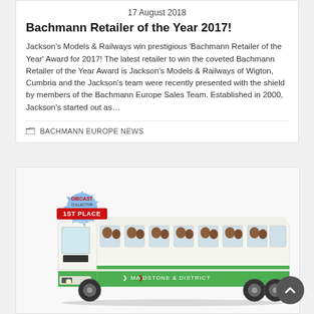17 August 2018
Bachmann Retailer of the Year 2017!
Jackson’s Models & Railways win prestigious ‘Bachmann Retailer of the Year’ Award for 2017! The latest retailer to win the coveted Bachmann Retailer of the Year Award is Jackson’s Models & Railways of Wigton, Cumbria and the Jackson’s team were recently presented with the shield by members of the Bachmann Europe Sales Team. Established in 2000, Jackson’s started out as…
BACHMANN EUROPE NEWS
[Figure (photo): A diecast model coach/bus in white and green livery reading 'Maidstone & District', with a 'Diecast Collector 1st Place Awards 2017' badge overlaid in the top-left corner.]